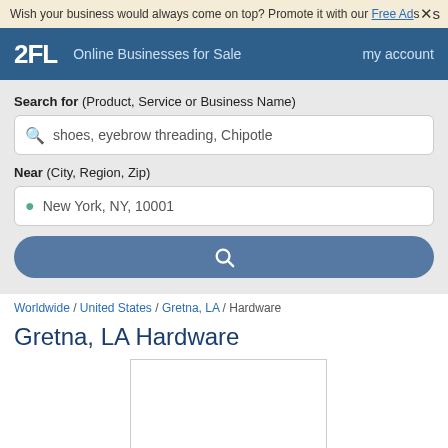Wish your business would always come on top? Promote it with our Free Ads
2FL  Online Businesses for Sale  my account
Search for (Product, Service or Business Name) shoes, eyebrow threading, Chipotle
Near (City, Region, Zip) New York, NY, 10001
Worldwide / United States / Gretna, LA / Hardware
Gretna, LA Hardware
[Figure (other): Advertisement placeholder box]